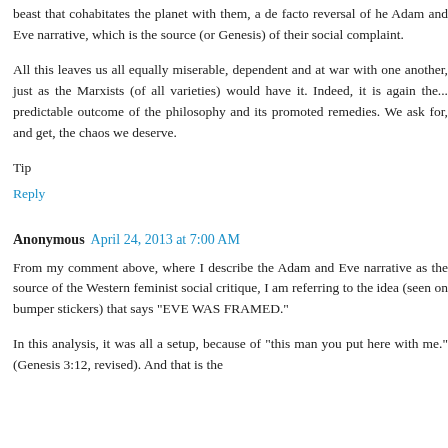beast that cohabitates the planet with them, a de facto reversal of he Adam and Eve narrative, which is the source (or Genesis) of their social complaint.
All this leaves us all equally miserable, dependent and at war with one another, just as the Marxists (of all varieties) would have it. Indeed, it is again the... predictable outcome of the philosophy and its promoted remedies. We ask for, and get, the chaos we deserve.
Tip
Reply
Anonymous April 24, 2013 at 7:00 AM
From my comment above, where I describe the Adam and Eve narrative as the source of the Western feminist social critique, I am referring to the idea (seen on bumper stickers) that says "EVE WAS FRAMED."
In this analysis, it was all a setup, because of "this man you put here with me." (Genesis 3:12, revised). And that is the